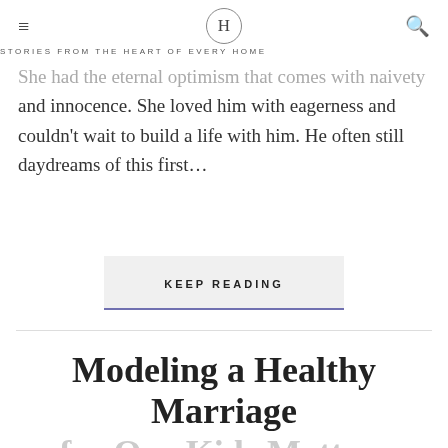H — STORIES FROM THE HEART OF EVERY HOME
She had the eternal optimism that comes with naivety and innocence. She loved him with eagerness and couldn't wait to build a life with him. He often still daydreams of this first…
KEEP READING
Modeling a Healthy Marriage for Our Kids Matters